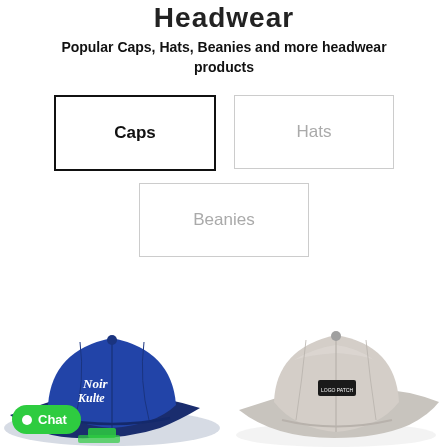Headwear
Popular Caps, Hats, Beanies and more headwear products
Caps
Hats
Beanies
[Figure (photo): Blue baseball cap with white script lettering on front]
[Figure (photo): Light grey/beige baseball cap with small rectangular logo patch on front]
Chat